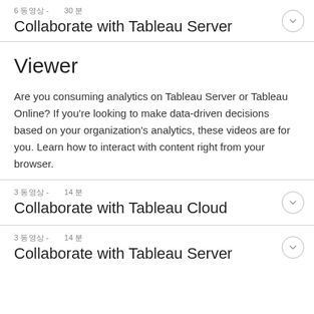6 동영상  -       30 분
Collaborate with Tableau Server
Viewer
Are you consuming analytics on Tableau Server or Tableau Online? If you're looking to make data-driven decisions based on your organization's analytics, these videos are for you. Learn how to interact with content right from your browser.
3 동영상  -       14 분
Collaborate with Tableau Cloud
3 동영상  -       14 분
Collaborate with Tableau Server